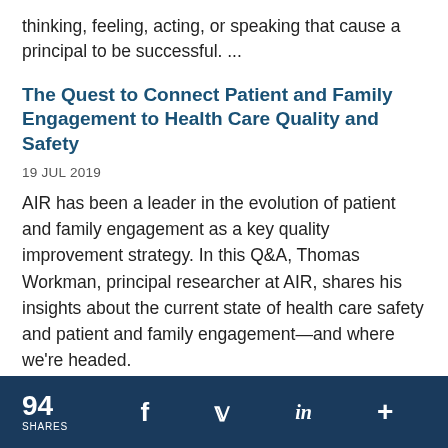thinking, feeling, acting, or speaking that cause a principal to be successful. ...
The Quest to Connect Patient and Family Engagement to Health Care Quality and Safety
19 JUL 2019
AIR has been a leader in the evolution of patient and family engagement as a key quality improvement strategy. In this Q&A, Thomas Workman, principal researcher at AIR, shares his insights about the current state of health care safety and patient and family engagement—and where we're headed.
94 SHARES  f  in  +